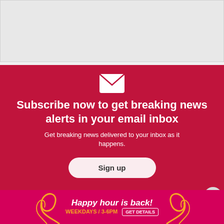[Figure (other): Gray placeholder content area at top of page]
[Figure (infographic): Red subscription call-to-action panel with envelope icon, headline, subtext, and sign up button]
Subscribe now to get breaking news alerts in your email inbox
Get breaking news delivered to your inbox as it happens.
[Figure (infographic): Pink advertisement banner at bottom: 'Happy hour is back! WEEKDAYS / 3-6PM GET DETAILS' with decorative swirls]